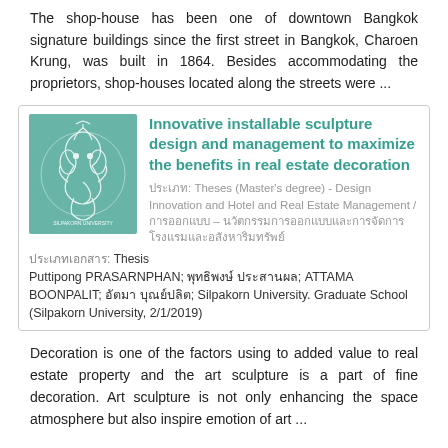The shop-house has been one of downtown Bangkok signature buildings since the first street in Bangkok, Charoen Krung, was built in 1864. Besides accommodating the proprietors, shop-houses located along the streets were ...
[Figure (logo): Silpakorn University logo — teal/green background with white Ganesh/elephant deity emblem and university name around the border]
Innovative installable sculpture design and management to maximize the benefits in real estate decoration
ประเภท: Theses (Master's degree) - Design Innovation and Hotel and Real Estate Management / การออกแบบ – นวัตกรรมการออกแบบและการจัดการโรงแรมและอสังหาริมทรัพย์
ประเภทเอกสาร: Thesis
Puttipong PRASARNPHAN; พุทธิพงษ์ ประสานผล; ATTAMA BOONPALIT; อัตมา บุณย์ปลิต; Silpakorn University. Graduate School (Silpakorn University, 2/1/2019)
Decoration is one of the factors using to added value to real estate property and the art sculpture is a part of fine decoration. Art sculpture is not only enhancing the space atmosphere but also inspire emotion of art ...